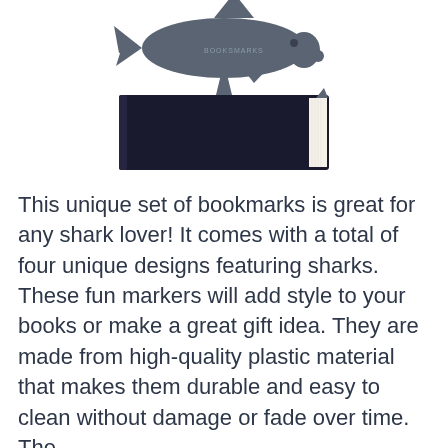[Figure (photo): Product photo showing shark-shaped bookmarks. A large dark grey shark silhouette is visible at the top. Below it is a black book with a small shark fin bookmark inserted into the pages, and a small shark tail bookmark also visible.]
This unique set of bookmarks is great for any shark lover! It comes with a total of four unique designs featuring sharks. These fun markers will add style to your books or make a great gift idea. They are made from high-quality plastic material that makes them durable and easy to clean without damage or fade over time. The